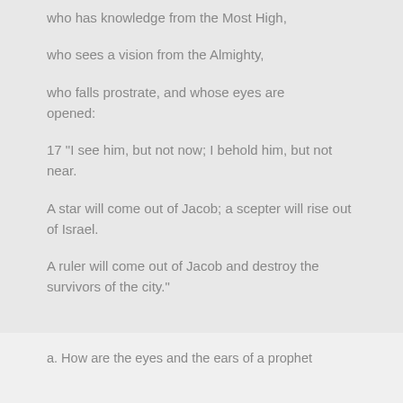who has knowledge from the Most High,
who sees a vision from the Almighty,
who falls prostrate, and whose eyes are opened:
17 “I see him, but not now; I behold him, but not near.
A star will come out of Jacob; a scepter will rise out of Israel.
A ruler will come out of Jacob and destroy the survivors of the city.”
a. How are the eyes and the ears of a prophet